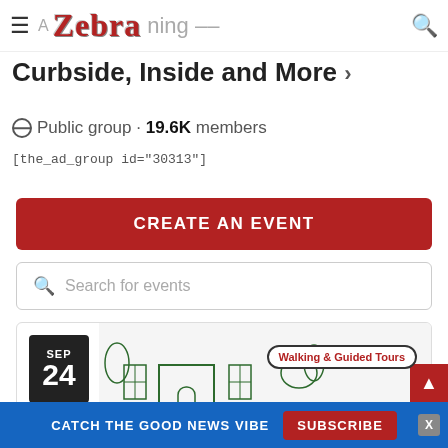≡ Zebra ning -- 🔍
Curbside, Inside and More ›
🌐 Public group · 19.6K members
[the_ad_group id="30313"]
CREATE AN EVENT
Search for events
[Figure (screenshot): Event card for Sep 24 showing a green illustrated house with Walking & Guided Tours label]
CATCH THE GOOD NEWS VIBE  SUBSCRIBE  X